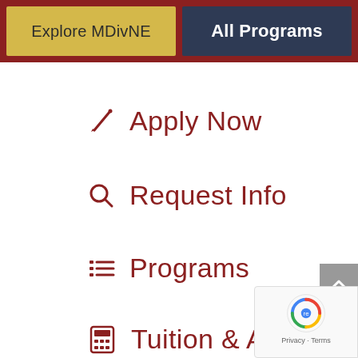[Figure (screenshot): Navigation bar with two buttons: 'Explore MDivNE' (golden/yellow background) and 'All Programs' (dark navy background)]
Apply Now
Request Info
Programs
Tuition & Aid